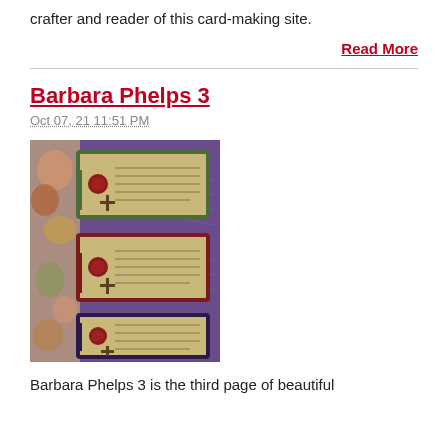crafter and reader of this card-making site.
Read More
Barbara Phelps 3
Oct 07, 21 11:51 PM
[Figure (photo): A decorated card or scrapbook page with vintage manuscript-style tags on a purple background, featuring floral elements and aged paper cards with wax seals.]
Barbara Phelps 3 is the third page of beautiful